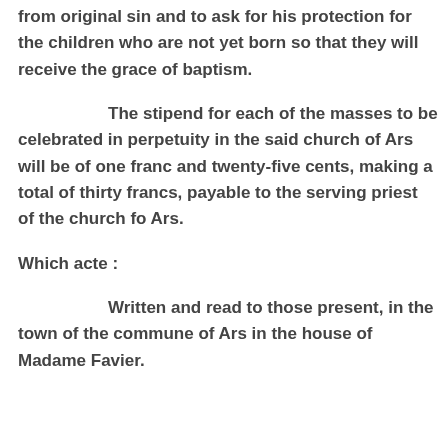from original sin and to ask for his protection for the children who are not yet born so that they will receive the grace of baptism.
The stipend for each of the masses to be celebrated in perpetuity in the said church of Ars will be of one franc and twenty-five cents, making a total of thirty francs, payable to the serving priest of the church fo Ars.
Which acte :
Written and read to those present, in the town of the commune of Ars in the house of Madame Favier.